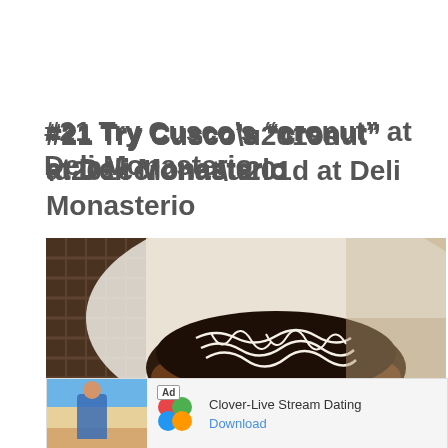#21 Try Cusco’s “cronut” at Deli Monasterio
[Figure (photo): Close-up photo of a chocolate-covered cronut pastry with white icing drizzled on top, placed on white parchment paper, with a wicker basket visible in the background.]
[Figure (photo): Advertisement banner showing a woman on a beach and a Clover app logo with text 'Clover-Live Stream Dating' and a 'Download' link.]